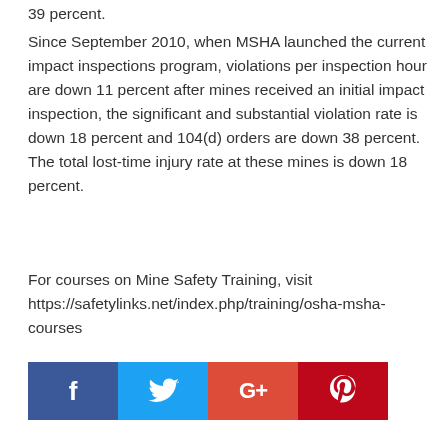39 percent.
Since September 2010, when MSHA launched the current impact inspections program, violations per inspection hour are down 11 percent after mines received an initial impact inspection, the significant and substantial violation rate is down 18 percent and 104(d) orders are down 38 percent. The total lost-time injury rate at these mines is down 18 percent.
For courses on Mine Safety Training, visit https://safetylinks.net/index.php/training/osha-msha-courses
[Figure (infographic): Social media sharing buttons: Facebook (blue), Twitter (light blue), Google+ (red-orange), Pinterest (red)]